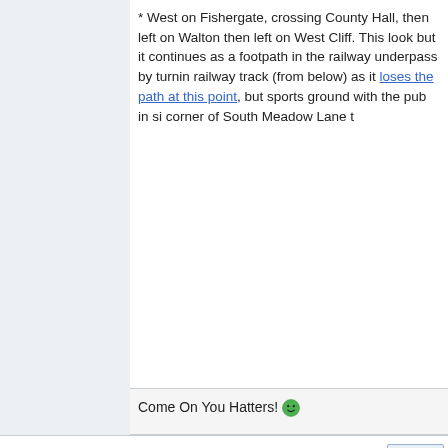* West on Fishergate, crossing County Hall, then left on Walton, then left on West Cliff. This look but it continues as a footpath in the railway underpass by turning railway track (from below) as it loses the path at this point, but sports ground with the pub in sight corner of South Meadow Lane t
Come On You Hatters! 😁
« Previous Thread | Next Thread
Similar Threads